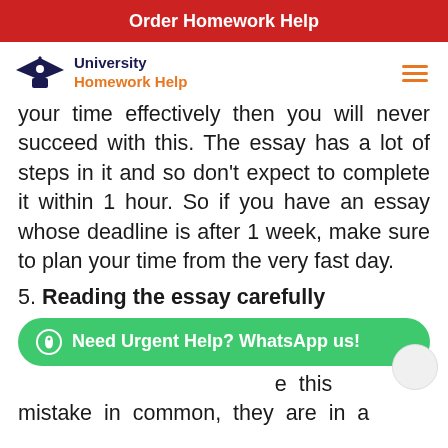Order Homework Help
[Figure (logo): University Homework Help logo with graduation cap icon, navy and orange text]
your time effectively then you will never succeed with this. The essay has a lot of steps in it and so don't expect to complete it within 1 hour. So if you have an essay whose deadline is after 1 week, make sure to plan your time from the very fast day.
5. Reading the essay carefully
Need Urgent Help? WhatsApp us!
e this mistake in common, they are in a